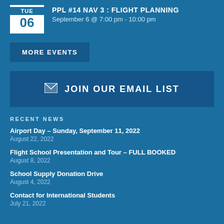PPL #14 NAV 3 : FLIGHT PLANNING
September 6 @ 7:00 pm - 10:00 pm
MORE EVENTS
JOIN OUR EMAIL LIST
RECENT NEWS
Airport Day – Sunday, September 11, 2022
August 22, 2022
Flight School Presentation and Tour – FULL BOOKED
August 8, 2022
School Supply Donation Drive
August 4, 2022
Contact for International Students
July 21, 2022